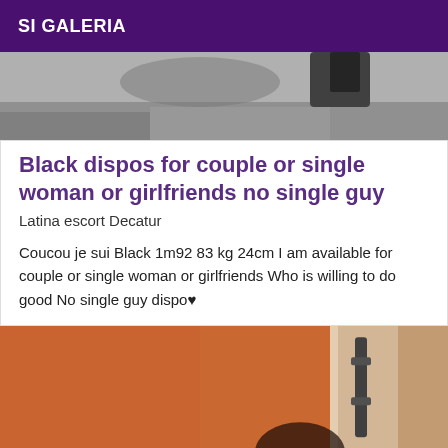SI GALERIA
[Figure (photo): Blurry photo showing feet/shoes on a floor surface, dark tones]
Black dispos for couple or single woman or girlfriends no single guy
Latina escort Decatur
Coucou je sui Black 1m92 83 kg 24cm I am available for couple or single woman or girlfriends Who is willing to do good No single guy dispo♥
[Figure (photo): Photo with orange/warm toned background, partial figure visible near a door]